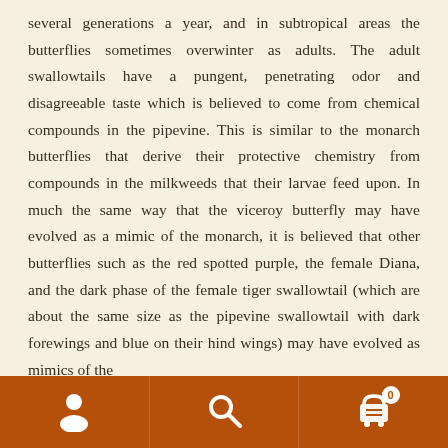several generations a year, and in subtropical areas the butterflies sometimes overwinter as adults. The adult swallowtails have a pungent, penetrating odor and disagreeable taste which is believed to come from chemical compounds in the pipevine. This is similar to the monarch butterflies that derive their protective chemistry from compounds in the milkweeds that their larvae feed upon. In much the same way that the viceroy butterfly may have evolved as a mimic of the monarch, it is believed that other butterflies such as the red spotted purple, the female Diana, and the dark phase of the female tiger swallowtail (which are about the same size as the pipevine swallowtail with dark forewings and blue on their hind wings) may have evolved as mimics of the
[Figure (other): Navigation bar with three icons: user/person icon (left), search/magnifying glass icon (center), shopping cart icon with badge showing 0 (right), on a brown/orange background.]